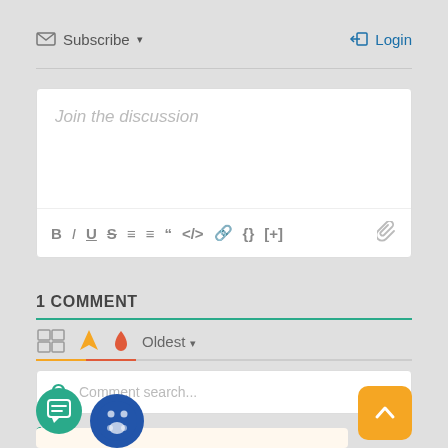Subscribe ▾
Login
Join the discussion
1 COMMENT
Oldest ▾
Comment search...
1